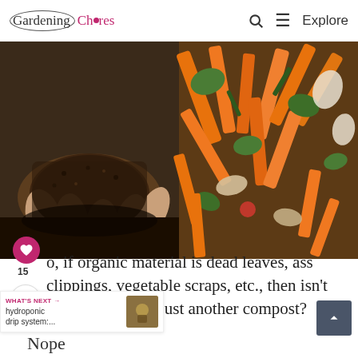Gardening Chores — Q Explore
[Figure (photo): Two side-by-side photos: left shows hands holding dark rich compost/soil; right shows a pile of colorful vegetable scraps including carrot peels, lettuce, onion skins.]
o, if organic material is dead leaves, ass clippings, vegetable scraps, etc., then isn't organic material just another compost?
15
WHAT'S NEXT → hydroponic drip system:...
Nope